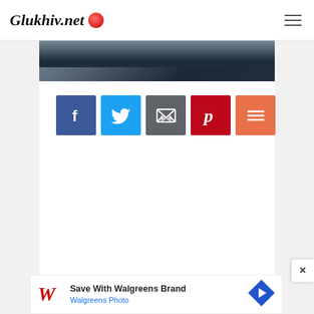Glukhiv.net
[Figure (photo): Partial aerial or satellite dark image at top of content area]
[Figure (infographic): Social sharing buttons: Facebook (blue), Twitter (light blue), Email (gray), Pinterest (red), More (orange-red)]
[Figure (screenshot): Advertisement: Save With Walgreens Brand - Walgreens Photo, with Walgreens W logo and navigation arrow icon]